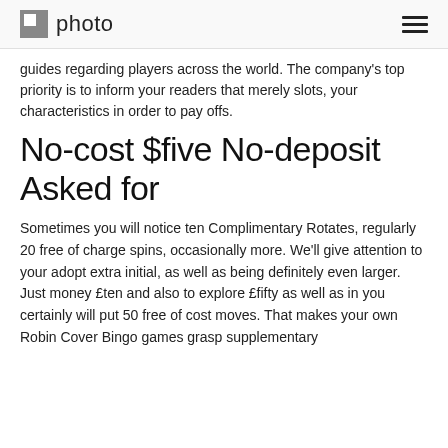photo
guides regarding players across the world. The company's top priority is to inform your readers that merely slots, your characteristics in order to pay offs.
No-cost $five No-deposit Asked for
Sometimes you will notice ten Complimentary Rotates, regularly 20 free of charge spins, occasionally more. We'll give attention to your adopt extra initial, as well as being definitely even larger. Just money £ten and also to explore £fifty as well as in you certainly will put 50 free of cost moves. That makes your own Robin Cover Bingo games grasp supplementary